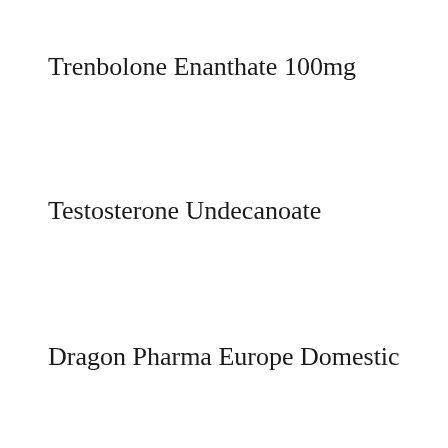Trenbolone Enanthate 100mg
Testosterone Undecanoate
Dragon Pharma Europe Domestic